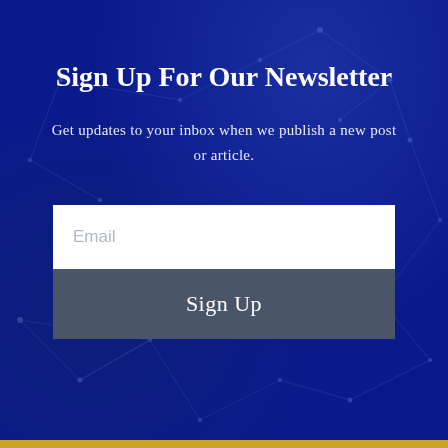Sign Up For Our Newsletter
Get updates to your inbox when we publish a new post or article.
[Figure (infographic): Email input field with placeholder text 'Email' and a 'Sign Up' button below it, forming a newsletter subscription form on a dark blue network-themed background.]